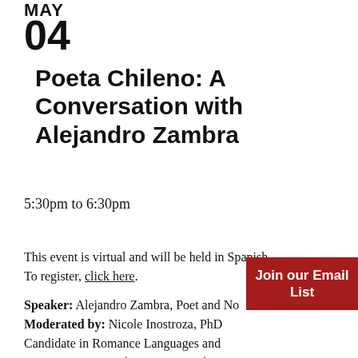MAY
04
Poeta Chileno: A Conversation with Alejandro Zambra
5:30pm to 6:30pm
This event is virtual and will be held in Spanish. To register, click here.
Speaker: Alejandro Zambra, Poet and Novelist Moderated by: Nicole Inostroza, PhD Candidate in Romance Languages and Literatures, Harvard University and Mariano
[Figure (other): Dark red 'Join our Email List' badge/button in bottom-right corner]